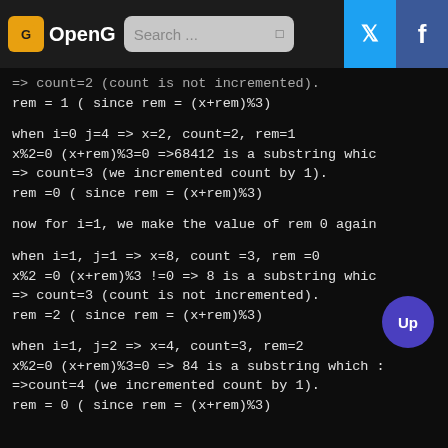OpenG | Search ... | Twitter | Facebook
=> count=2 (count is not incremented).
rem = 1 ( since rem = (x+rem)%3)

when i=0 j=4 => x=2, count=2, rem=1
x%2=0 (x+rem)%3=0 =>68412 is a substring whic
=> count=3 (we incremented count by 1).
rem =0 ( since rem = (x+rem)%3)

now for i=1, we make the value of rem 0 again

when i=1, j=1 => x=8, count =3, rem =0
x%2 =0 (x+rem)%3 !=0 => 8 is a substring whic
=> count=3 (count is not incremented).
rem =2 ( since rem = (x+rem)%3)

when i=1, j=2 => x=4, count=3, rem=2
x%2=0 (x+rem)%3=0 => 84 is a substring which :
=>count=4 (we incremented count by 1).
rem = 0 ( since rem = (x+rem)%3)